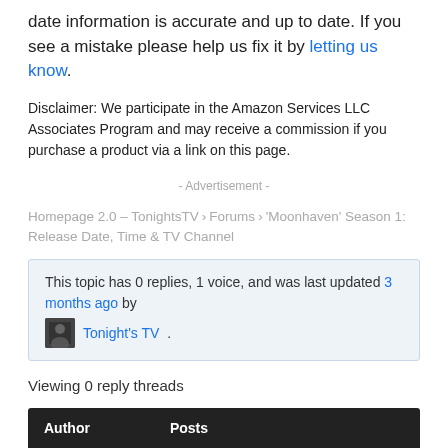date information is accurate and up to date. If you see a mistake please help us fix it by letting us know.
Disclaimer: We participate in the Amazon Services LLC Associates Program and may receive a commission if you purchase a product via a link on this page.
- Advertisement -
Homepage 2.0 – TonightsTV › Forums › 'Moonhaven' Season 1: Release Date, Time & TV Channel
This topic has 0 replies, 1 voice, and was last updated 3 months ago by Tonight's TV.
Viewing 0 reply threads
| Author | Posts |
| --- | --- |
May 25, 2022 at 2:18 PM   #230490
Tonight's TV   Keymaster